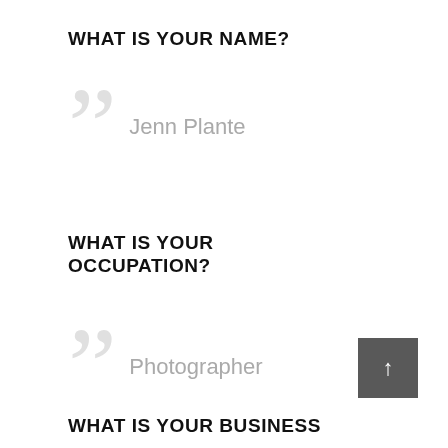WHAT IS YOUR NAME?
Jenn Plante
WHAT IS YOUR OCCUPATION?
Photographer
WHAT IS YOUR BUSINESS